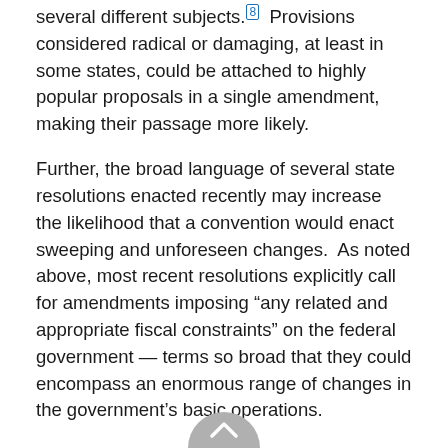several different subjects.[8]  Provisions considered radical or damaging, at least in some states, could be attached to highly popular proposals in a single amendment, making their passage more likely.
Further, the broad language of several state resolutions enacted recently may increase the likelihood that a convention would enact sweeping and unforeseen changes.  As noted above, most recent resolutions explicitly call for amendments imposing “any related and appropriate fiscal constraints” on the federal government — terms so broad that they could encompass an enormous range of changes in the government’s basic operations.
The resolutions that passed in recent years in Alabama, Alaska, Florida, Georgia, Indiana, Louisiana, Oklahoma, and Tennessee called for amendments to “impose fiscal restraints on the federal government, limit the power and jurisdiction of the federal government, and limit the terms